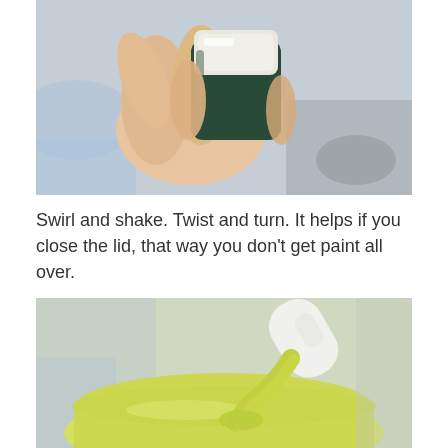[Figure (photo): Close-up photograph of a hand holding a small dark green paint container with a white/cream lid, being shaken or swirled. Background is blurred with colorful items.]
Swirl and shake. Twist and turn. It helps if you close the lid, that way you don’t get paint all over.
[Figure (photo): Close-up photograph of a yellow-green paint being poured from a small bottle into a bowl or container, showing the viscous paint flowing out.]